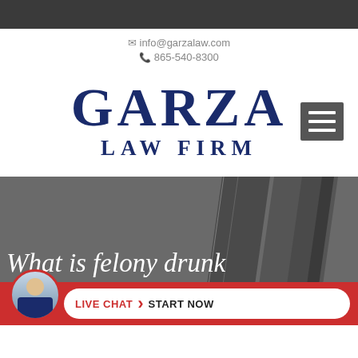info@garzalaw.com | 865-540-8300
[Figure (logo): Garza Law Firm logo with hamburger menu icon]
[Figure (screenshot): Hero section with text 'What is felony drunk' on dark background with book image and a Live Chat / Start Now button bar at the bottom featuring attorney photo]